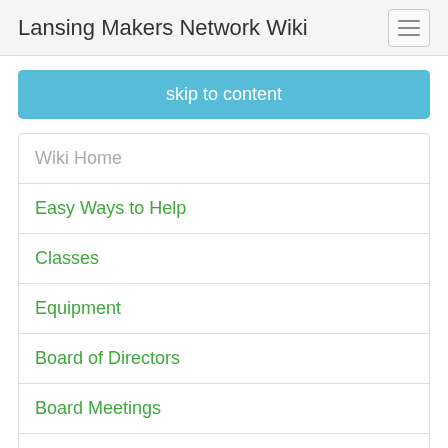Lansing Makers Network Wiki
skip to content
Wiki Home
Easy Ways to Help
Classes
Equipment
Board of Directors
Board Meetings
Planning
Working Groups